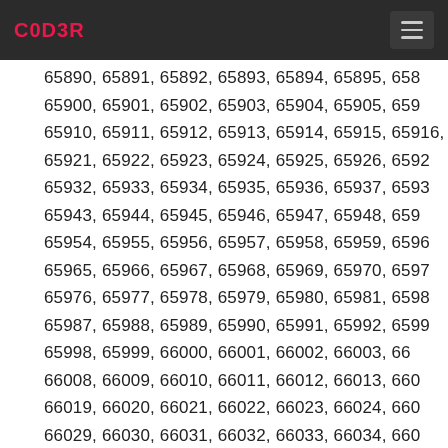C0D3R
65890, 65891, 65892, 65893, 65894, 65895, 658...
65900, 65901, 65902, 65903, 65904, 65905, 659...
65910, 65911, 65912, 65913, 65914, 65915, 65916,...
65921, 65922, 65923, 65924, 65925, 65926, 6592...
65932, 65933, 65934, 65935, 65936, 65937, 6593...
65943, 65944, 65945, 65946, 65947, 65948, 659...
65954, 65955, 65956, 65957, 65958, 65959, 6596...
65965, 65966, 65967, 65968, 65969, 65970, 6597...
65976, 65977, 65978, 65979, 65980, 65981, 6598...
65987, 65988, 65989, 65990, 65991, 65992, 6599...
65998, 65999, 66000, 66001, 66002, 66003, 66...
66008, 66009, 66010, 66011, 66012, 66013, 660...
66019, 66020, 66021, 66022, 66023, 66024, 660...
66029, 66030, 66031, 66032, 66033, 66034, 660...
66039, 66040, 66041, 66042, 66043, 66044, 66...
66049, 66050, 66051, 66052, 66053, 66054, 660...